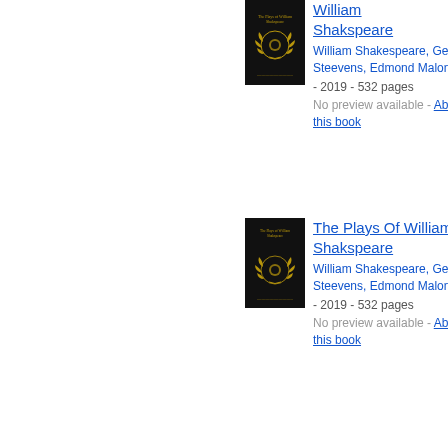[Figure (illustration): Book cover of The Plays Of William Shakspeare - black cover with gold laurel wreath emblem]
The Plays Of William Shakspeare
William Shakespeare, George Steevens, Edmond Malone - 2019 - 532 pages
No preview available - About this book
[Figure (illustration): Book cover of The Plays Of William Shakspeare - black cover with gold laurel wreath emblem]
The Plays Of William Shakspeare
William Shakespeare, George Steevens, Edmond Malone - 2019 - 532 pages
No preview available - About this book